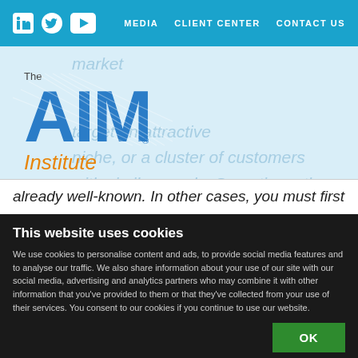MEDIA  CLIENT CENTER  CONTACT US
[Figure (logo): The AIM Institute logo with blue AIM letters and orange Institute text]
already well-known. In other cases, you must first
This website uses cookies
We use cookies to personalise content and ads, to provide social media features and to analyse our traffic. We also share information about your use of our site with our social media, advertising and analytics partners who may combine it with other information that you've provided to them or that they've collected from your use of their services. You consent to our cookies if you continue to use our website.
OK
Necessary  Preferences  Statistics  Marketing  Show details